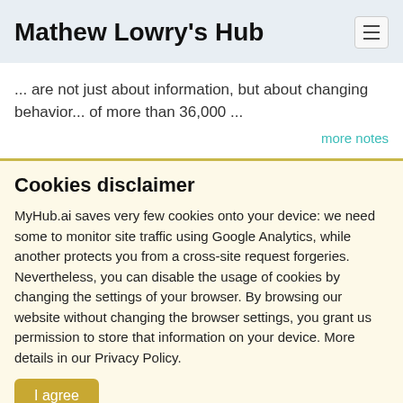Mathew Lowry's Hub
... are not just about information, but about changing behavior... of more than 36,000 ...
more notes
Cookies disclaimer
MyHub.ai saves very few cookies onto your device: we need some to monitor site traffic using Google Analytics, while another protects you from a cross-site request forgeries. Nevertheless, you can disable the usage of cookies by changing the settings of your browser. By browsing our website without changing the browser settings, you grant us permission to store that information on your device. More details in our Privacy Policy.
I agree